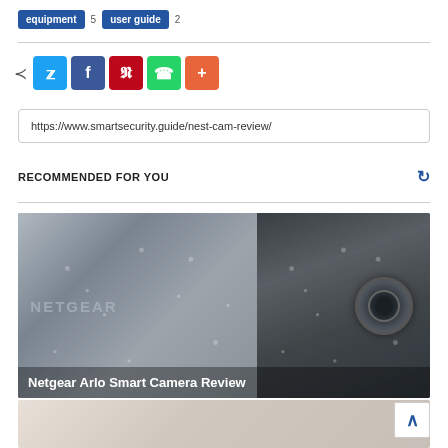equipment 5   user guide 2
[Figure (infographic): Social share buttons row: share icon, Twitter (blue), Facebook (dark blue), Pinterest (red), WhatsApp (green), More (orange)]
https://www.smartsecurity.guide/nest-cam-review/
RECOMMENDED FOR YOU
[Figure (photo): Close-up photo of Netgear Arlo Smart Camera covered in water droplets, showing the camera lens on the right side. Caption reads: Netgear Arlo Smart Camera Review]